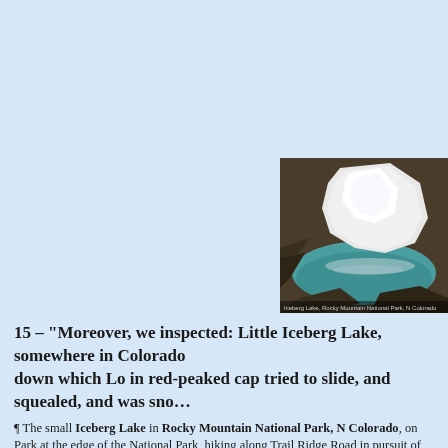[Figure (photo): Photograph of Iceberg Lake showing a large white iceberg or snow mass reflected in teal-blue water, with rocky dark shoreline surrounding it.]
15 – "Moreover, we inspected: Little Iceberg Lake, somewhere in Colorado, down which Lo in red-peaked cap tried to slide, and squealed, and was sno...
¶ The small Iceberg Lake in Rocky Mountain National Park, N Colorado, on Park at the edge of the National Park, hiking along Trail Ridge Road in pursuit of There will not necessarily have been icebergs on the lake in summer and fall but t Memory recalls Rocky Mountain National Park : "At last I saw I had come to the ground beyond was a paradise of lupines, columbines, and pentstemons. Maripos dull green slopes above timber line, and the gray and white of Longs Peak. I con...